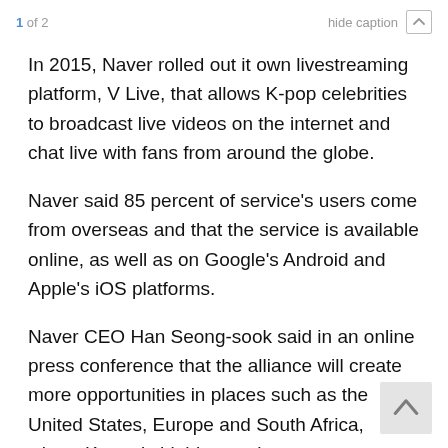1 of 2  hide caption
In 2015, Naver rolled out it own livestreaming platform, V Live, that allows K-pop celebrities to broadcast live videos on the internet and chat live with fans from around the globe.
Naver said 85 percent of service's users come from overseas and that the service is available online, as well as on Google's Android and Apple's iOS platforms.
Naver CEO Han Seong-sook said in an online press conference that the alliance will create more opportunities in places such as the United States, Europe and South Africa, where K-pop is highly popular.